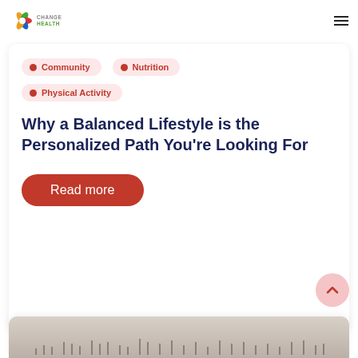Change Health
Community
Nutrition
Physical Activity
Why a Balanced Lifestyle is the Personalized Path You’re Looking For
Read more
[Figure (photo): Crowd of people visible at the bottom of the page, partially cropped]